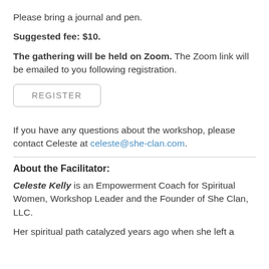Please bring a journal and pen.
Suggested fee: $10.
The gathering will be held on Zoom. The Zoom link will be emailed to you following registration.
[Figure (other): REGISTER button — a rounded rectangle button with grey border and grey text reading REGISTER]
If you have any questions about the workshop, please contact Celeste at celeste@she-clan.com.
About the Facilitator:
Celeste Kelly is an Empowerment Coach for Spiritual Women, Workshop Leader and the Founder of She Clan, LLC.
Her spiritual path catalyzed years ago when she left a